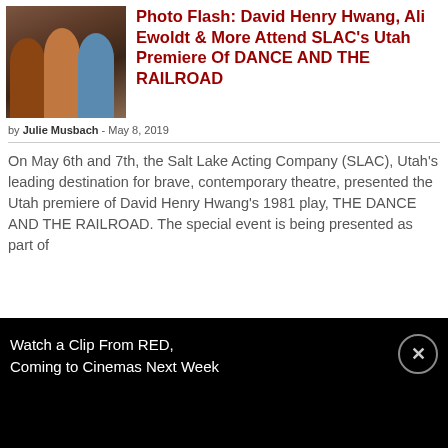[Figure (photo): Three men posing together for a photo, appearing to be at an event]
Photo Flash: David Henry Hwang, Ali Ewoldt & More Attend SLAC's Utah Premiere Of DANCE AND THE RAILROAD
by Julie Musbach - May 8, 2019
On May 6th and 7th, the Salt Lake Acting Company (SLAC), Utah's leading destination for brave, contemporary theatre, presented the Utah premiere of David Henry Hwang's 1981 play, THE DANCE AND THE RAILROAD. The special event is being presented as part of
Watch a Clip From RED, Coming to Cinemas Next Week